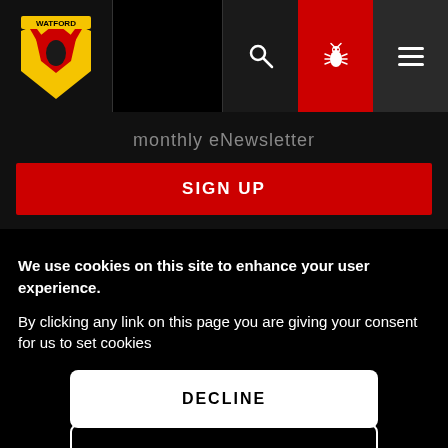[Figure (logo): Watford FC logo — yellow shield with red horns/bird on black background, top-left corner]
monthly eNewsletter
SIGN UP
We use cookies on this site to enhance your user experience.
By clicking any link on this page you are giving your consent for us to set cookies
DECLINE
I AGREE